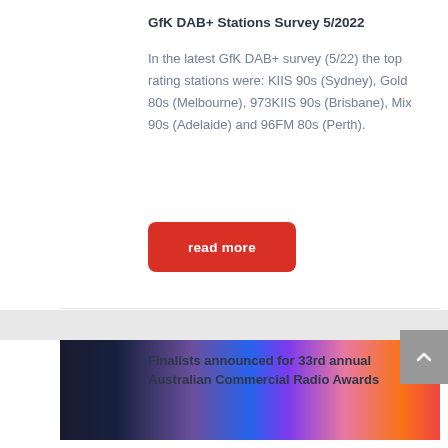GfK DAB+ Stations Survey 5/2022
In the latest GfK DAB+ survey (5/22) the top rating stations were: KIIS 90s (Sydney), Gold 80s (Melbourne), 973KIIS 90s (Brisbane), Mix 90s (Adelaide) and 96FM 80s (Perth).
read more
[Figure (photo): Crowd of people at what appears to be an awards ceremony or live event, with colorful stage lighting including blue, purple, and pink/red tones. People are celebrating and performers are visible on stage.]
Finalists announced for 33rd annual Australian Commercial Radio Awards